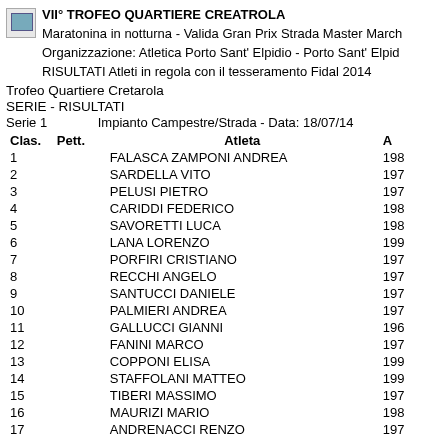VII° TROFEO QUARTIERE CREATROLA
Maratonina in notturna - Valida Gran Prix Strada Master March
Organizzazione: Atletica Porto Sant' Elpidio - Porto Sant' Elpid
RISULTATI Atleti in regola con il tesseramento Fidal 2014
Trofeo Quartiere Cretarola
SERIE - RISULTATI
Serie 1       Impianto Campestre/Strada - Data: 18/07/14
| Clas. | Pett. | Atleta | A |
| --- | --- | --- | --- |
| 1 |  | FALASCA ZAMPONI ANDREA | 198 |
| 2 |  | SARDELLA VITO | 197 |
| 3 |  | PELUSI PIETRO | 197 |
| 4 |  | CARIDDI FEDERICO | 198 |
| 5 |  | SAVORETTI LUCA | 198 |
| 6 |  | LANA LORENZO | 199 |
| 7 |  | PORFIRI CRISTIANO | 197 |
| 8 |  | RECCHI ANGELO | 197 |
| 9 |  | SANTUCCI DANIELE | 197 |
| 10 |  | PALMIERI ANDREA | 197 |
| 11 |  | GALLUCCI GIANNI | 196 |
| 12 |  | FANINI MARCO | 197 |
| 13 |  | COPPONI ELISA | 199 |
| 14 |  | STAFFOLANI MATTEO | 199 |
| 15 |  | TIBERI MASSIMO | 197 |
| 16 |  | MAURIZI MARIO | 198 |
| 17 |  | ANDRENACCI RENZO | 197 |